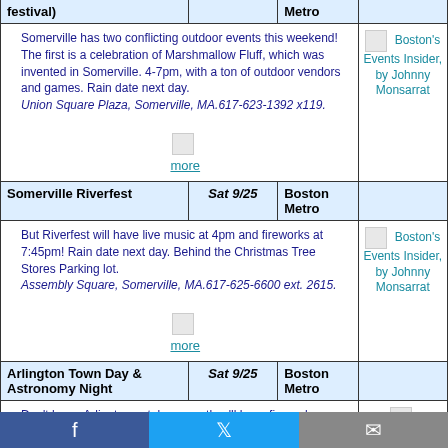| Event | Date | Region | Sidebar |
| --- | --- | --- | --- |
| festival) |  | Metro |  |
| Somerville has two conflicting outdoor events this weekend! The first is a celebration of Marshmallow Fluff, which was invented in Somerville. 4-7pm, with a ton of outdoor vendors and games. Rain date next day. Union Square Plaza, Somerville, MA.617-623-1392 x119. |  | Boston's Events Insider, by Johnny Monsarrat / more |  |
| Somerville Riverfest | Sat 9/25 | Boston Metro |  |
| But Riverfest will have live music at 4pm and fireworks at 7:45pm! Rain date next day. Behind the Christmas Tree Stores Parking lot. Assembly Square, Somerville, MA.617-625-6600 ext. 2615. |  | Boston's Events Insider, by Johnny Monsarrat / more |  |
| Arlington Town Day & Astronomy Night | Sat 9/25 | Boston Metro |  |
| Don't leave Arlington out, because they'll have fireworks on Friday at Gay Pond, rain date: |  |  |  |
Facebook | Twitter | Mail